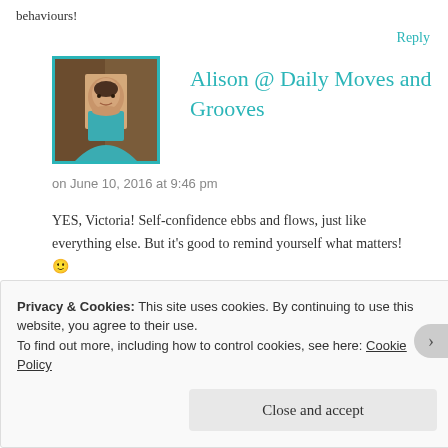behaviours!
Reply
[Figure (photo): Profile photo of Alison, a woman smiling, with a teal/cyan square border]
Alison @ Daily Moves and Grooves
on June 10, 2016 at 9:46 pm
YES, Victoria! Self-confidence ebbs and flows, just like everything else. But it's good to remind yourself what matters! 🙂
Reply
Privacy & Cookies: This site uses cookies. By continuing to use this website, you agree to their use.
To find out more, including how to control cookies, see here: Cookie Policy
Close and accept